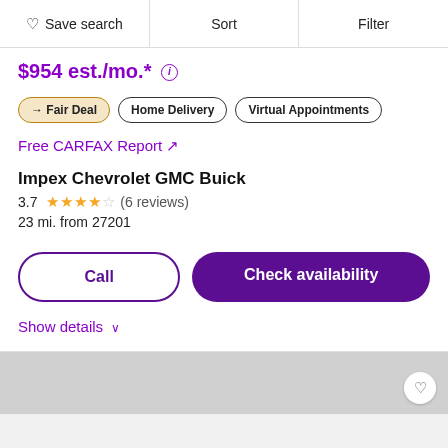Save search | Sort | Filter
$954 est./mo.* ⓘ
→ Fair Deal | Home Delivery | Virtual Appointments
Free CARFAX Report ↗
Impex Chevrolet GMC Buick
3.7 ★★★½☆ (6 reviews)
23 mi. from 27201
Call | Check availability
Show details ∨
[Figure (other): Gray placeholder area for next listing card with heart/save icon]